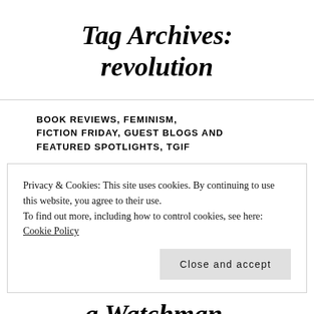Tag Archives: revolution
BOOK REVIEWS, FEMINISM, FICTION FRIDAY, GUEST BLOGS AND FEATURED SPOTLIGHTS, TGIF
Privacy & Cookies: This site uses cookies. By continuing to use this website, you agree to their use.
To find out more, including how to control cookies, see here: Cookie Policy
Close and accept
a Watchman.